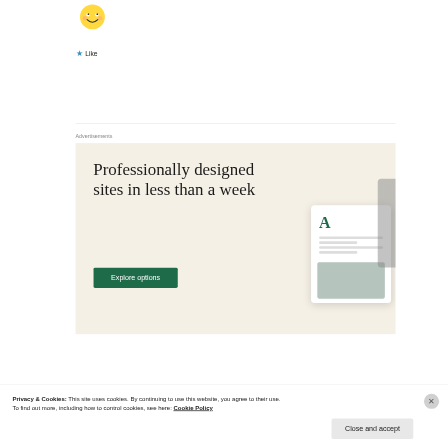[Figure (illustration): Yellow smiley face emoji icon]
★ Like
Advertisements
[Figure (screenshot): Advertisement banner with cream background showing 'Professionally designed sites in less than a week' headline with an 'Explore options' button in dark green and a mockup of a website design on the right side]
Privacy & Cookies: This site uses cookies. By continuing to use this website, you agree to their use.
To find out more, including how to control cookies, see here: Cookie Policy
Close and accept